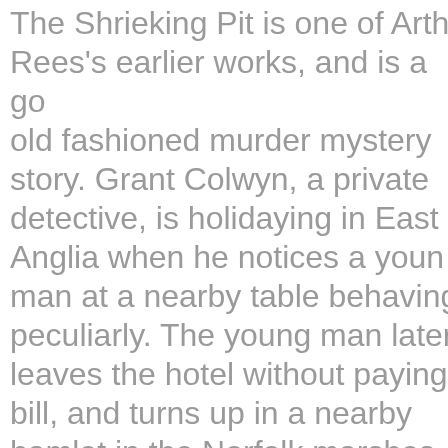The Shrieking Pit is one of Arthur Rees's earlier works, and is a good old fashioned murder mystery story. Grant Colwyn, a private detective, is holidaying in East Anglia when he notices a young man at a nearby table behaving peculiarly. The young man later leaves the hotel without paying bill, and turns up in a nearby hamlet in the Norfolk marshes where he takes lodgings at the village inn. The next day, another guest at the inn is found dead, the young man is missing. Can Colwyn sort out the mystery and prove the young man's innocence one way or the the other? (Summary by Kevin Green)...
Fiction, Mystery